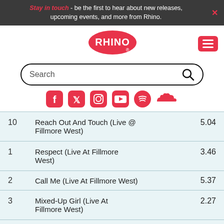Stay in touch - be the first to hear about new releases, upcoming events, and more from Rhino.
[Figure (logo): Rhino Records logo — white text RHINO on red oval]
[Figure (screenshot): Search bar with magnifying glass icon]
[Figure (infographic): Social media icons: Facebook, Twitter, Instagram, YouTube, Spotify, SoundCloud — all red]
| # | Title | Duration |
| --- | --- | --- |
| 10 | Reach Out And Touch (Live @ Fillmore West) | 5.04 |
| 1 | Respect (Live At Fillmore West) | 3.46 |
| 2 | Call Me (Live At Fillmore West) | 5.37 |
| 3 | Mixed-Up Girl (Live At Fillmore West) | 2.27 |
| 4 | Love The One You're With (Live At Fillmore West) | 4.14 |